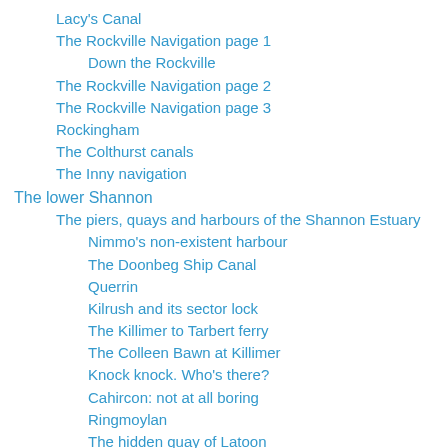Lacy's Canal
The Rockville Navigation page 1
Down the Rockville
The Rockville Navigation page 2
The Rockville Navigation page 3
Rockingham
The Colthurst canals
The Inny navigation
The lower Shannon
The piers, quays and harbours of the Shannon Estuary
Nimmo’s non-existent harbour
The Doonbeg Ship Canal
Querrin
Kilrush and its sector lock
The Killimer to Tarbert ferry
The Colleen Bawn at Killimer
Knock knock. Who’s there?
Cahircon: not at all boring
Ringmoylan
The hidden quay of Latoon